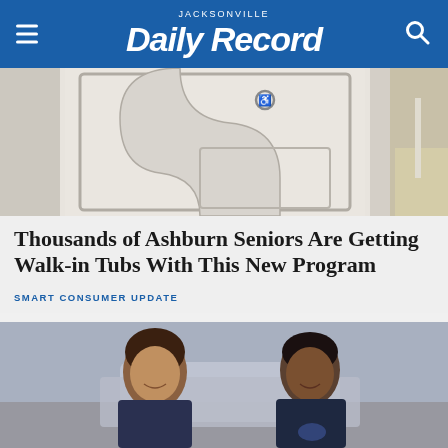JACKSONVILLE Daily Record
[Figure (photo): Photo of a walk-in tub door with wheelchair accessibility symbol]
Thousands of Ashburn Seniors Are Getting Walk-in Tubs With This New Program
SMART CONSUMER UPDATE
[Figure (photo): Two smiling women in navy uniforms standing near a car outdoors]